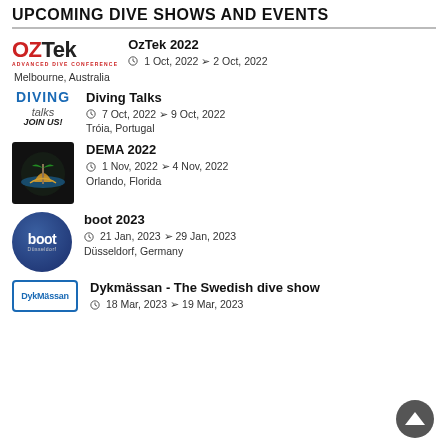UPCOMING DIVE SHOWS AND EVENTS
OzTek 2022 | 1 Oct, 2022 > 2 Oct, 2022 | Melbourne, Australia
Diving Talks | 7 Oct, 2022 > 9 Oct, 2022 | Tróia, Portugal
DEMA 2022 | 1 Nov, 2022 > 4 Nov, 2022 | Orlando, Florida
boot 2023 | 21 Jan, 2023 > 29 Jan, 2023 | Düsseldorf, Germany
Dykmässan - The Swedish dive show | 18 Mar, 2023 > 19 Mar, 2023